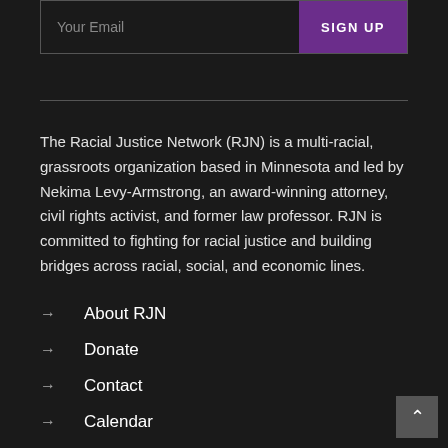[Figure (screenshot): Email signup form with a text input labeled 'Your Email' and a purple 'SIGN UP' button]
The Racial Justice Network (RJN) is a multi-racial, grassroots organization based in Minnesota and led by Nekima Levy-Armstrong, an award-winning attorney, civil rights activist, and former law professor. RJN is committed to fighting for racial justice and building bridges across racial, social, and economic lines.
About RJN
Donate
Contact
Calendar
Newsroom
With Gratitude